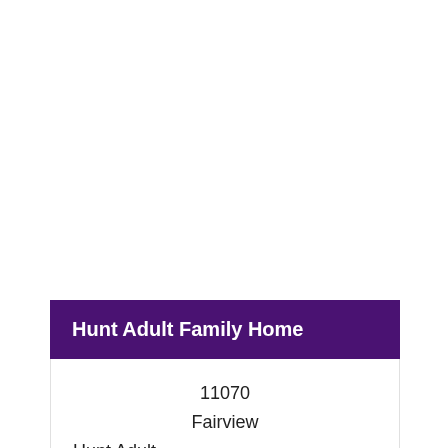Hunt Adult Family Home
11070
Fairview
Hunt Adult